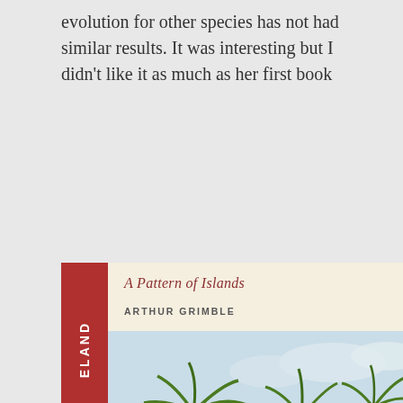evolution for other species has not had similar results. It was interesting but I didn't like it as much as her first book
[Figure (illustration): Book cover for 'A Pattern of Islands' by Arthur Grimble, published by Eland. Features a red spine with 'ELAND' in white vertical text, a cream/off-white header area with the title in italic dark red and author in small caps, and a tropical painting showing palm trees leaning over a turquoise sea with a thatched hut on a sandy shore. The bottom has an orange/red decorative band.]